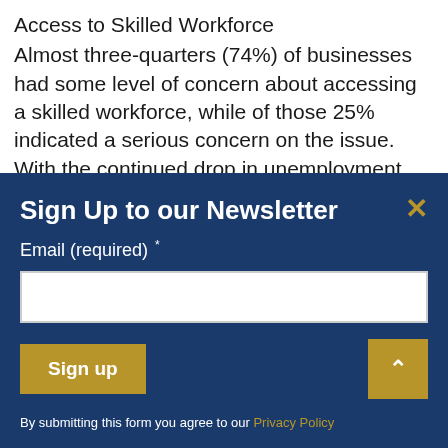Access to Skilled Workforce
Almost three-quarters (74%) of businesses had some level of concern about accessing a skilled workforce, while of those 25% indicated a serious concern on the issue. With the continued drop in unemployment month-on-month in the third quarter of this year, analysis shows businesses will need to be flexible on how they recruit talent, and
Sign Up to our Newsletter
Email (required) *
Sign up
By submitting this form you agree to our Privacy Policy